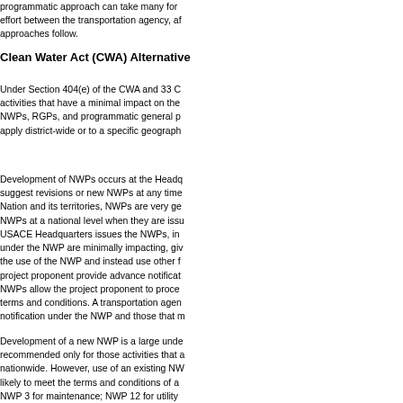programmatic approach can take many forms and often requires a collaborative effort between the transportation agency, and the approaches follow.
Clean Water Act (CWA) Alternative
Under Section 404(e) of the CWA and 33 C activities that have a minimal impact on the NWPs, RGPs, and programmatic general p apply district-wide or to a specific geograph
Development of NWPs occurs at the Headq suggest revisions or new NWPs at any time Nation and its territories, NWPs are very ge NWPs at a national level when they are issu USACE Headquarters issues the NWPs, in under the NWP are minimally impacting, giv the use of the NWP and instead use other f project proponent provide advance notificat NWPs allow the project proponent to proce terms and conditions. A transportation agen notification under the NWP and those that m
Development of a new NWP is a large unde recommended only for those activities that a nationwide. However, use of an existing NW likely to meet the terms and conditions of a NWP 3 for maintenance; NWP 12 for utility transportation projects, including roads and